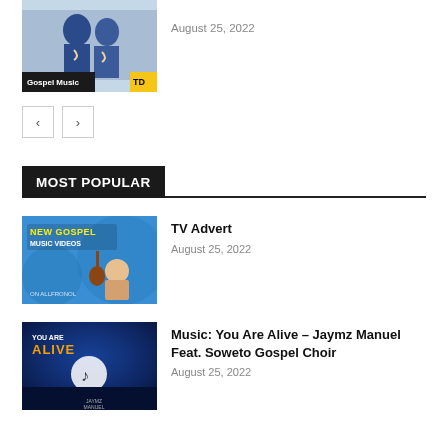[Figure (photo): Thumbnail image of a gospel music article with 'Gospel Music' label overlay]
August 25, 2022
[Figure (other): Navigation previous and next buttons]
MOST POPULAR
[Figure (photo): Thumbnail for TV Advert article showing New Gospel Music Videos promotional image]
TV Advert
August 25, 2022
[Figure (photo): Thumbnail for Music: You Are Alive article showing Jaymz Manuel Feat. Soweto Gospel Choir]
Music: You Are Alive – Jaymz Manuel Feat. Soweto Gospel Choir
August 25, 2022